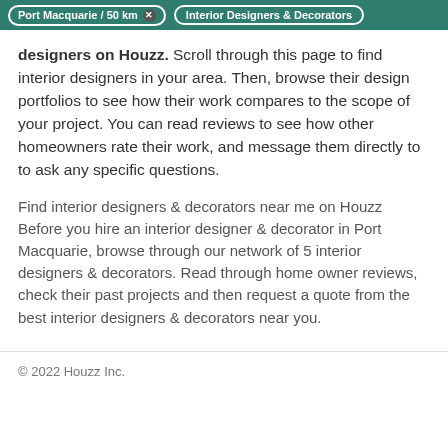Port Macquarie / 50 km  ×   Interior Designers & Decorators
designers on Houzz. Scroll through this page to find interior designers in your area. Then, browse their design portfolios to see how their work compares to the scope of your project. You can read reviews to see how other homeowners rate their work, and message them directly to to ask any specific questions.
Find interior designers & decorators near me on Houzz Before you hire an interior designer & decorator in Port Macquarie, browse through our network of 5 interior designers & decorators. Read through home owner reviews, check their past projects and then request a quote from the best interior designers & decorators near you.
© 2022 Houzz Inc.